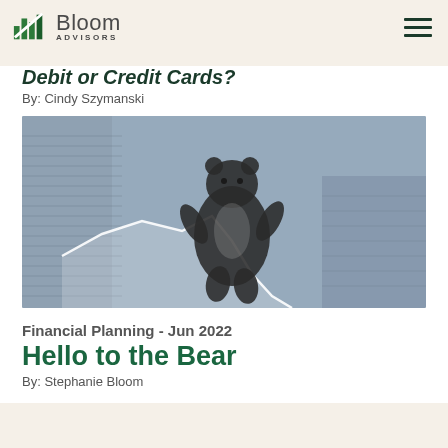Bloom Advisors
Debit or Credit Cards?
By: Cindy Szymanski
[Figure (photo): A toy bear figurine standing upright on financial documents/charts showing a declining market line graph, in black and white / blue-gray tones]
Financial Planning - Jun 2022
Hello to the Bear
By: Stephanie Bloom